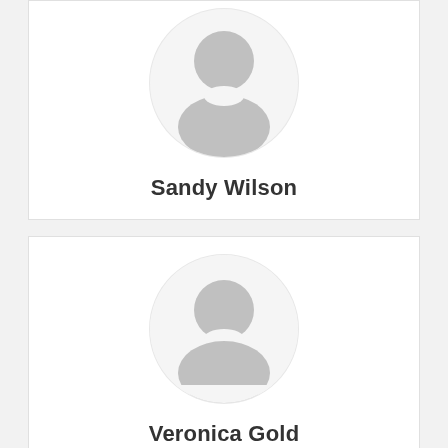[Figure (illustration): Generic user avatar icon (gray silhouette on white circle) for Sandy Wilson, partially cropped at top]
Sandy Wilson
[Figure (illustration): Generic user avatar icon (gray silhouette on white circle) for Veronica Gold]
Veronica Gold